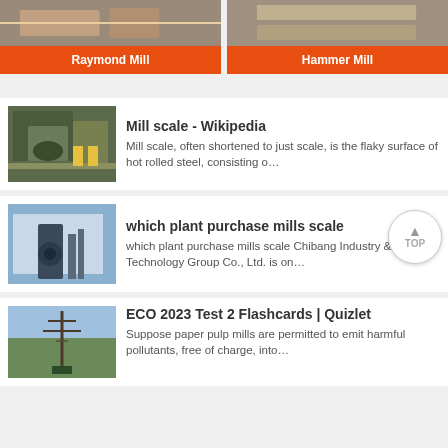[Figure (photo): Raymond Mill product card with orange label]
[Figure (photo): Hammer Mill product card with orange label]
[Figure (photo): Mill scale industrial machinery image]
Mill scale - Wikipedia
Mill scale, often shortened to just scale, is the flaky surface of hot rolled steel, consisting o…
[Figure (photo): Industrial plant with large vertical mill equipment]
which plant purchase mills scale
which plant purchase mills scale Chibang Industry & Technology Group Co., Ltd. is on…
[Figure (photo): Industrial drilling rig / crane at green field]
ECO 2023 Test 2 Flashcards | Quizlet
Suppose paper pulp mills are permitted to emit harmful pollutants, free of charge, into…